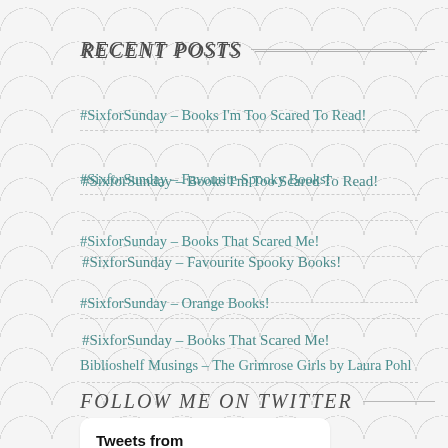RECENT POSTS
#SixforSunday – Books I'm Too Scared To Read!
#SixforSunday – Favourite Spooky Books!
#SixforSunday – Books That Scared Me!
#SixforSunday – Orange Books!
Biblioshelf Musings – The Grimrose Girls by Laura Pohl
FOLLOW ME ON TWITTER
Tweets from @biblioshelf…